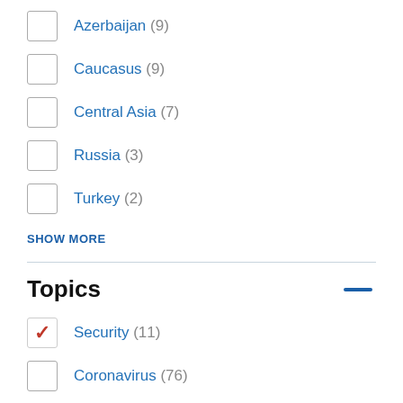Azerbaijan (9)
Caucasus (9)
Central Asia (7)
Russia (3)
Turkey (2)
SHOW MORE
Topics
Security (11)
Coronavirus (76)
Society (46)
Economy (45)